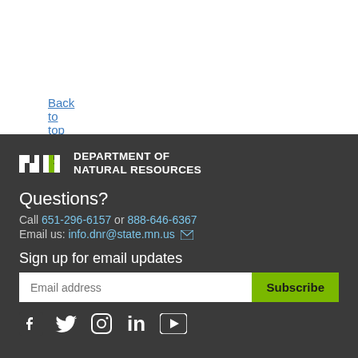Back to top
[Figure (logo): Minnesota Department of Natural Resources logo with 'mn' mark and 'DEPARTMENT OF NATURAL RESOURCES' text]
Questions?
Call 651-296-6157 or 888-646-6367
Email us: info.dnr@state.mn.us
Sign up for email updates
Email address | Subscribe
[Figure (other): Social media icons: Facebook, Twitter, Instagram, LinkedIn, YouTube]